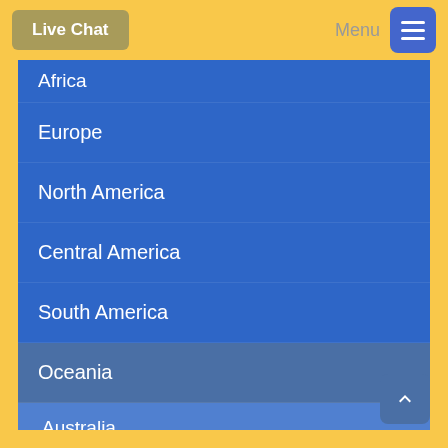Live Chat | Menu
Africa
Europe
North America
Central America
South America
Oceania
Australia
Christmas Island
Cook Islands
Fiji Islands